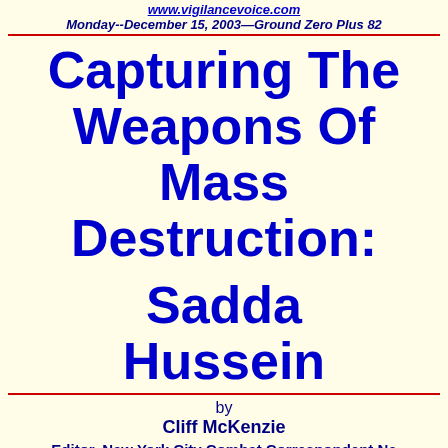www.vigilancevoice.com
Monday--December 15, 2003—Ground Zero Plus 82
Capturing The Weapons Of Mass Destruction:  Saddam Hussein
by
Cliff McKenzie
Editor, New York City Combat Correspondent Ne...
GROUND ZER0, New York, N.Y.--Dec. 15, 2003-- The Bea... of Terror is dead in Iraq.  And with his "death" was found... Weapons of Mass Destruction the world is searching for in... nation ruled by tyranny and oppression for the past 24 yea...